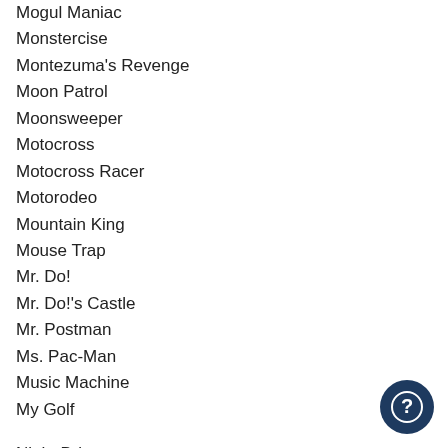Mogul Maniac
Monstercise
Montezuma's Revenge
Moon Patrol
Moonsweeper
Motocross
Motocross Racer
Motorodeo
Mountain King
Mouse Trap
Mr. Do!
Mr. Do!'s Castle
Mr. Postman
Ms. Pac-Man
Music Machine
My Golf
Night Driver
Night Stalker
Nightmare
No Escape!
Nuts